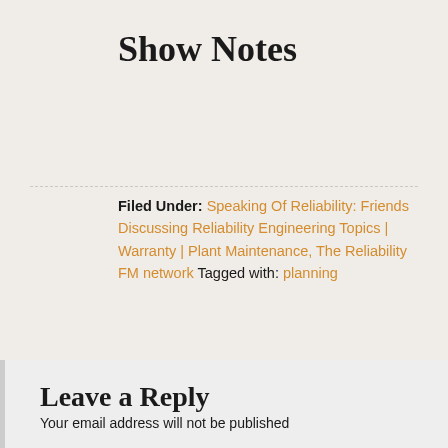Show Notes
Filed Under: Speaking Of Reliability: Friends Discussing Reliability Engineering Topics | Warranty | Plant Maintenance, The Reliability FM network Tagged with: planning
Leave a Reply
Your email address will not be published